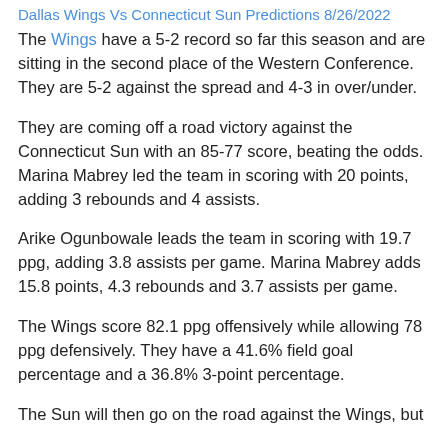Dallas Wings Vs Connecticut Sun Predictions 8/26/2022
The Wings have a 5-2 record so far this season and are sitting in the second place of the Western Conference. They are 5-2 against the spread and 4-3 in over/under.
They are coming off a road victory against the Connecticut Sun with an 85-77 score, beating the odds. Marina Mabrey led the team in scoring with 20 points, adding 3 rebounds and 4 assists.
Arike Ogunbowale leads the team in scoring with 19.7 ppg, adding 3.8 assists per game. Marina Mabrey adds 15.8 points, 4.3 rebounds and 3.7 assists per game.
The Wings score 82.1 ppg offensively while allowing 78 ppg defensively. They have a 41.6% field goal percentage and a 36.8% 3-point percentage.
The Sun will then go on the road against the Wings, but...